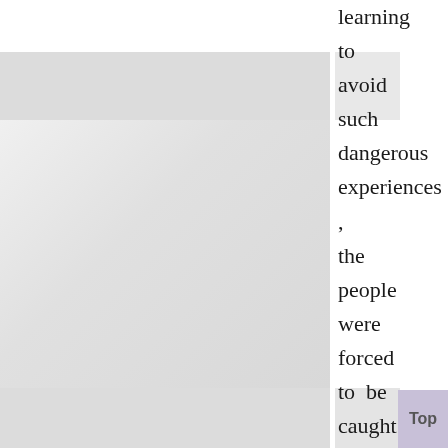[Figure (photo): A large decorative image or graphic occupying the left two-thirds of the page, showing a light gray/white blurred or abstract surface with gray horizontal bands near the top and bottom.]
learning to avoid such dangerous experiences, the people were forced to be caught up in the